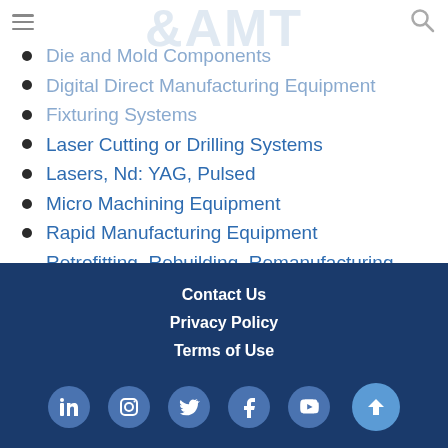Die and Mold Components
Digital Direct Manufacturing Equipment
Fixturing Systems
Laser Cutting or Drilling Systems
Lasers, Nd: YAG, Pulsed
Micro Machining Equipment
Rapid Manufacturing Equipment
Retrofitting, Rebuilding, Remanufacturing Services
Super (Micro) Finishing Machines
Workholding, Custom
Contact Us  Privacy Policy  Terms of Use